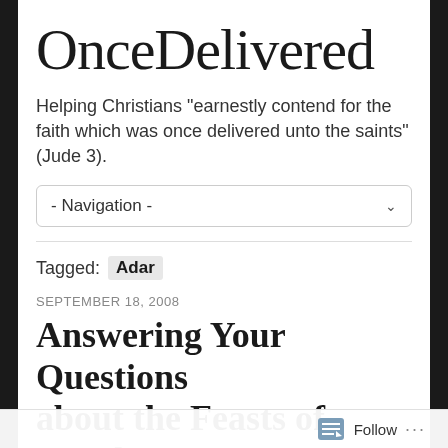OnceDelivered
Helping Christians "earnestly contend for the faith which was once delivered unto the saints" (Jude 3).
- Navigation -
Tagged: Adar
SEPTEMBER 18, 2008
Answering Your Questions about the Feasts of Israel